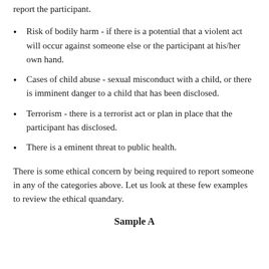report the participant.
Risk of bodily harm - if there is a potential that a violent act will occur against someone else or the participant at his/her own hand.
Cases of child abuse - sexual misconduct with a child, or there is imminent danger to a child that has been disclosed.
Terrorism - there is a terrorist act or plan in place that the participant has disclosed.
There is a eminent threat to public health.
There is some ethical concern by being required to report someone in any of the categories above. Let us look at these few examples to review the ethical quandary.
Sample A